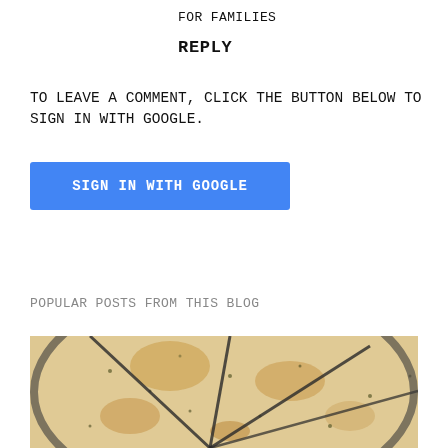for Families
REPLY
To leave a comment, click the button below to sign in with Google.
[Figure (screenshot): Blue 'SIGN IN WITH GOOGLE' button]
Popular posts from this blog
[Figure (photo): Close-up photo of flatbread or pizza cut into triangular slices on a dark round pan, sprinkled with herbs]